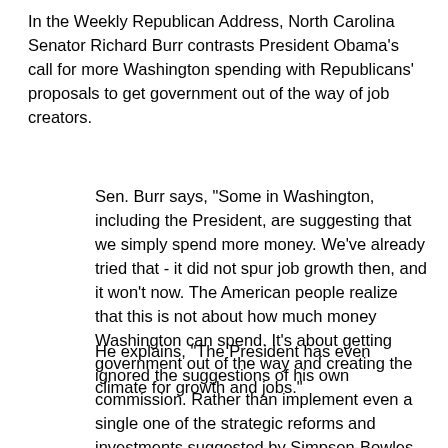In the Weekly Republican Address, North Carolina Senator Richard Burr contrasts President Obama's call for more Washington spending with Republicans' proposals to get government out of the way of job creators.
Sen. Burr says, "Some in Washington, including the President, are suggesting that we simply spend more money. We've already tried that - it did not spur job growth then, and it won't now. The American people realize that this is not about how much money Washington can spend. It's about getting government out of the way and creating the climate for growth and jobs."
He explains, "The President has even ignored the suggestions of his own commission. Rather than implement even a single one of the strategic reforms and investments suggested by Simpson-Bowles, we continue to ignore our fiscal problems and focus only on spending more money and